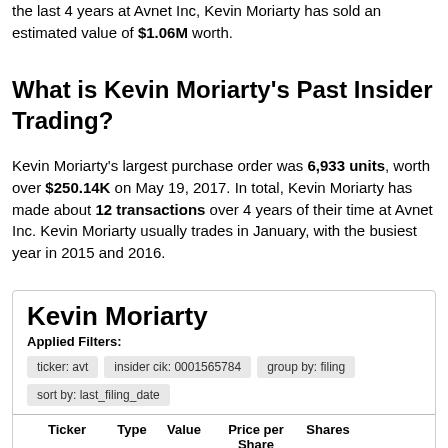the last 4 years at Avnet Inc, Kevin Moriarty has sold an estimated value of $1.06M worth.
What is Kevin Moriarty's Past Insider Trading?
Kevin Moriarty's largest purchase order was 6,933 units, worth over $250.14K on May 19, 2017. In total, Kevin Moriarty has made about 12 transactions over 4 years of their time at Avnet Inc. Kevin Moriarty usually trades in January, with the busiest year in 2015 and 2016.
| Ticker | Type | Value | Price per Share | Shares |  |
| --- | --- | --- | --- | --- | --- |